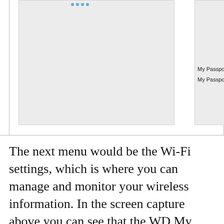[Figure (screenshot): A screenshot showing a Wi-Fi settings interface with two panels. The right panel shows a WD My Passport device icon with two network entries: 'My Passport (2.4 GHz) - 0437...' and 'My Passport (5 GHz) - 043732', each with a lock icon. Blue dots appear at the top of both panels.]
The next menu would be the Wi-Fi settings, which is where you can manage and monitor your wireless information. In the screen capture above you can see that the WD My Passport Wireless Pro was connected to our PC and also our home